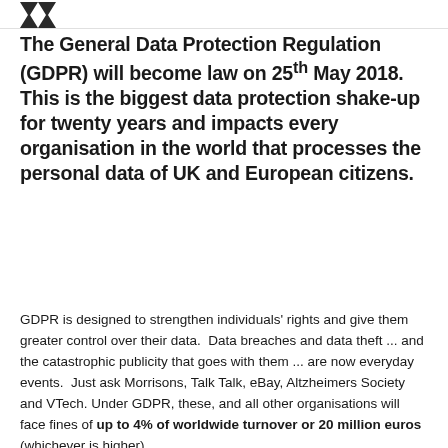[Figure (logo): Partial logo mark visible at top left, dark chevron/arrow shapes]
The General Data Protection Regulation (GDPR) will become law on 25th May 2018. This is the biggest data protection shake-up for twenty years and impacts every organisation in the world that processes the personal data of UK and European citizens.
GDPR is designed to strengthen individuals' rights and give them greater control over their data. Data breaches and data theft ... and the catastrophic publicity that goes with them ... are now everyday events. Just ask Morrisons, Talk Talk, eBay, Altzheimers Society and VTech. Under GDPR, these, and all other organisations will face fines of up to 4% of worldwide turnover or 20 million euros (whichever is higher).